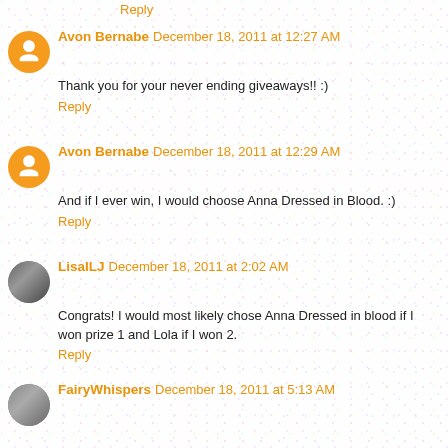Reply
Avon Bernabe December 18, 2011 at 12:27 AM
Thank you for your never ending giveaways!! :)
Reply
Avon Bernabe December 18, 2011 at 12:29 AM
And if I ever win, I would choose Anna Dressed in Blood. :)
Reply
LisaILJ December 18, 2011 at 2:02 AM
Congrats! I would most likely chose Anna Dressed in blood if I won prize 1 and Lola if I won 2.
Reply
FairyWhispers December 18, 2011 at 5:13 AM